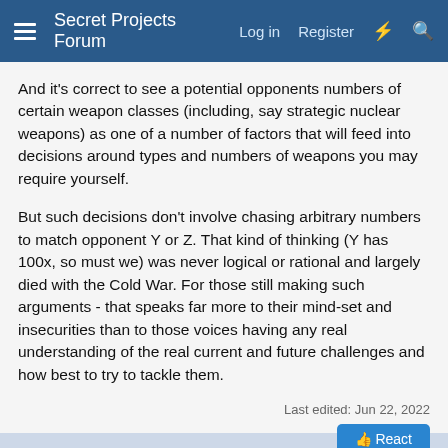Secret Projects Forum  Log in  Register
And it's correct to see a potential opponents numbers of certain weapon classes (including, say strategic nuclear weapons) as one of a number of factors that will feed into decisions around types and numbers of weapons you may require yourself.
But such decisions don't involve chasing arbitrary numbers to match opponent Y or Z. That kind of thinking (Y has 100x, so must we) was never logical or rational and largely died with the Cold War. For those still making such arguments - that speaks far more to their mind-set and insecurities than to those voices having any real understanding of the real current and future challenges and how best to try to tackle them.
Last edited: Jun 22, 2022
This site uses cookies to help personalise content, tailor your experience and to keep you logged in if you register.
By continuing to use this site, you are consenting to our use of cookies.